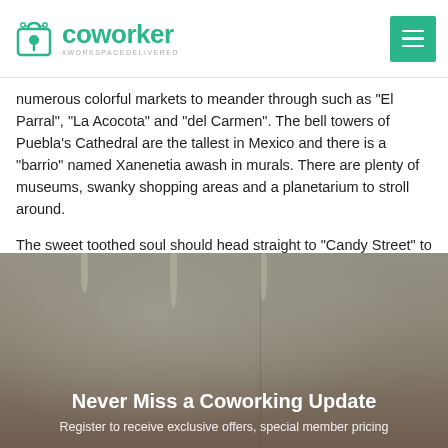coworker #WORKSPACEDELIVERED
numerous colorful markets to meander through such as "El Parral", "La Acocota" and "del Carmen". The bell towers of Puebla's Cathedral are the tallest in Mexico and there is a "barrio" named Xanenetia awash in murals. There are plenty of museums, swanky shopping areas and a planetarium to stroll around.
The sweet toothed soul should head straight to "Candy Street" to grab some Tortita de Santa Clara, a sweet nugget that looks like a cookie and was originally created by a nun of the Convent of Santa Clara.
To find a coworking space in Puebla, browse through our interactive map below.
[Figure (photo): Interior photo of a modern coworking space with pendant lights, showing a blurred room with tables and chairs]
Never Miss a Coworking Update
Register to receive exclusive offers, special member pricing